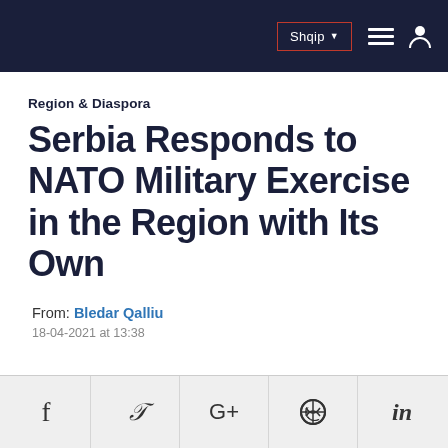Shqip | navigation menu | user icon
Region & Diaspora
Serbia Responds to NATO Military Exercise in the Region with Its Own
From: Bledar Qalliu
18-04-2021 at 13:38
f | twitter | G+ | WhatsApp | in